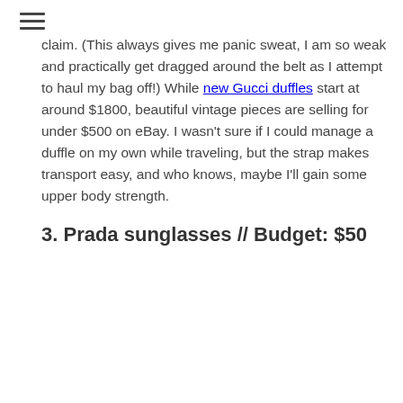claim. (This always gives me panic sweat, I am so weak and practically get dragged around the belt as I attempt to haul my bag off!) While new Gucci duffles start at around $1800, beautiful vintage pieces are selling for under $500 on eBay. I wasn't sure if I could manage a duffle on my own while traveling, but the strap makes transport easy, and who knows, maybe I'll gain some upper body strength.
3. Prada sunglasses // Budget: $50